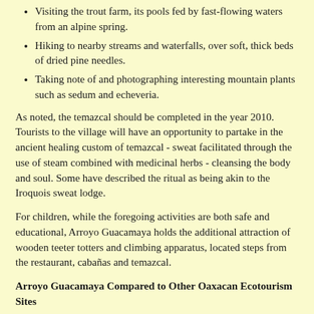Visiting the trout farm, its pools fed by fast-flowing waters from an alpine spring.
Hiking to nearby streams and waterfalls, over soft, thick beds of dried pine needles.
Taking note of and photographing interesting mountain plants such as sedum and echeveria.
As noted, the temazcal should be completed in the year 2010. Tourists to the village will have an opportunity to partake in the ancient healing custom of temazcal - sweat facilitated through the use of steam combined with medicinal herbs - cleansing the body and soul. Some have described the ritual as being akin to the Iroquois sweat lodge.
For children, while the foregoing activities are both safe and educational, Arroyo Guacamaya holds the additional attraction of wooden teeter totters and climbing apparatus, located steps from the restaurant, cabañas and temazcal.
Arroyo Guacamaya Compared to Other Oaxacan Ecotourism Sites
La Guacamaya is a relatively new ecotourism site in the Ixtlán district of Oaxaca. It stands alongside Cuajimoloyas, La Nevería, Benito Juárez, Llano Grande, Ixtlán de Juárez, and other similar